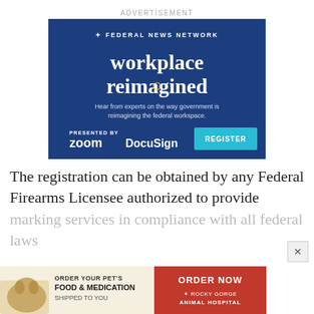ADVERTISEMENT
[Figure (advertisement): Federal News Network advertisement: 'workplace reimagined' — Hear from experts on the way government is reimagining the federal workspace. Presented by Zoom and DocuSign. Register button shown.]
The registration can be obtained by any Federal Firearms Licensee authorized to provide marking services in compliance with all federal laws
[Figure (advertisement): Rocky Gorge Animal Hospital ad: Order your pet's food & medication shipped to you. Order Now button.]